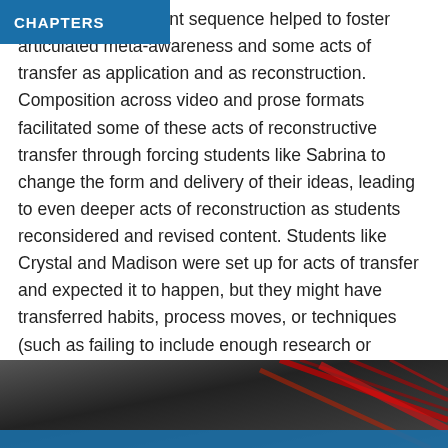CHAPTERS
of Katie's assignment sequence helped to foster articulated meta-awareness and some acts of transfer as application and as reconstruction. Composition across video and prose formats facilitated some of these acts of reconstructive transfer through forcing students like Sabrina to change the form and delivery of their ideas, leading to even deeper acts of reconstruction as students reconsidered and revised content. Students like Crystal and Madison were set up for acts of transfer and expected it to happen, but they might have transferred habits, process moves, or techniques (such as failing to include enough research or analysis along with quotations) that weren't completely suitable for the assignment.
[Figure (photo): Dark abstract photo strip with red diagonal lines/streaks, a dark grey textured background, and a blue bar at the bottom.]